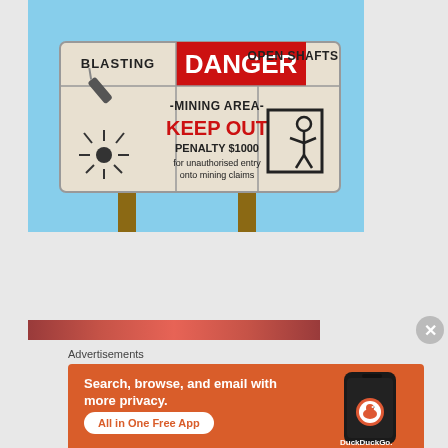[Figure (photo): A warning sign on posts against a blue sky. Sign reads: BLASTING | DANGER (red background) | OPEN SHAFTS. Center: -MINING AREA- KEEP OUT (red text) PENALTY $1000 for unauthorised entry onto mining claims. Icons: dynamite stick (top left), explosion (bottom left), person falling into shaft (right).]
[Figure (photo): Partial view of another image with red/dark tones, partially visible at bottom of viewport.]
Advertisements
[Figure (screenshot): DuckDuckGo advertisement on orange background. Text: 'Search, browse, and email with more privacy. All in One Free App'. Shows a smartphone with DuckDuckGo logo and branding.]